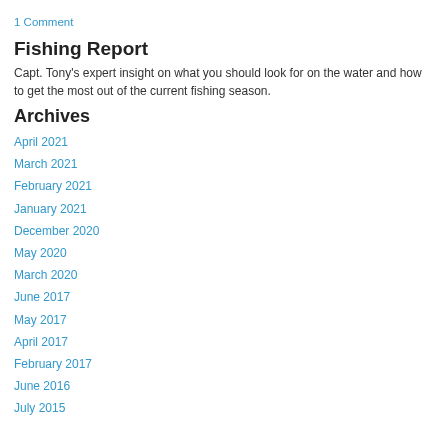1 Comment
Fishing Report
Capt. Tony's expert insight on what you should look for on the water and how to get the most out of the current fishing season.
Archives
April 2021
March 2021
February 2021
January 2021
December 2020
May 2020
March 2020
June 2017
May 2017
April 2017
February 2017
June 2016
July 2015